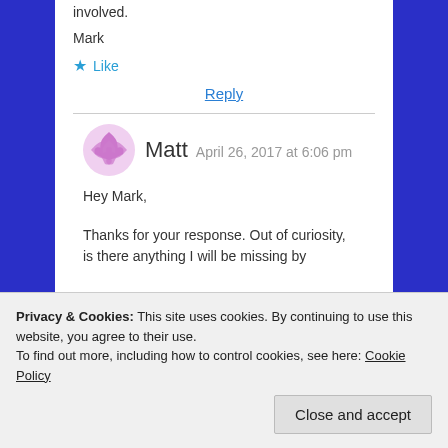involved.
Mark
★ Like
Reply
Matt  April 26, 2017 at 6:06 pm
Hey Mark,
Thanks for your response. Out of curiosity, is there anything I will be missing by
Privacy & Cookies: This site uses cookies. By continuing to use this website, you agree to their use.
To find out more, including how to control cookies, see here: Cookie Policy
Close and accept